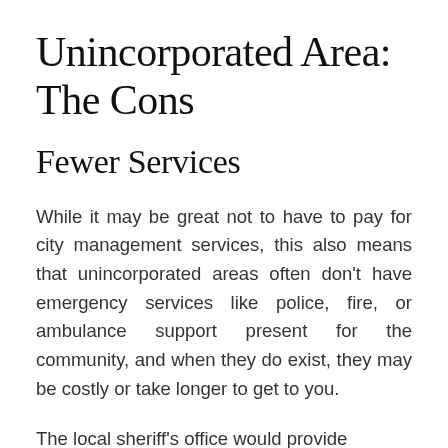Unincorporated Area: The Cons
Fewer Services
While it may be great not to have to pay for city management services, this also means that unincorporated areas often don't have emergency services like police, fire, or ambulance support present for the community, and when they do exist, they may be costly or take longer to get to you.
The local sheriff's office would provide